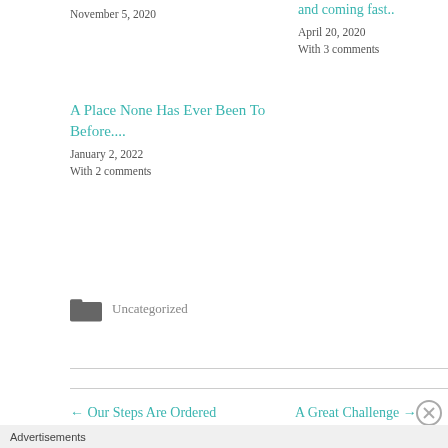November 5, 2020
and coming fast..
April 20, 2020
With 3 comments
A Place None Has Ever Been To Before....
January 2, 2022
With 2 comments
Uncategorized
← Our Steps Are Ordered
A Great Challenge →
Advertisements
AUTOMATTIC
Build a better web and a better world.